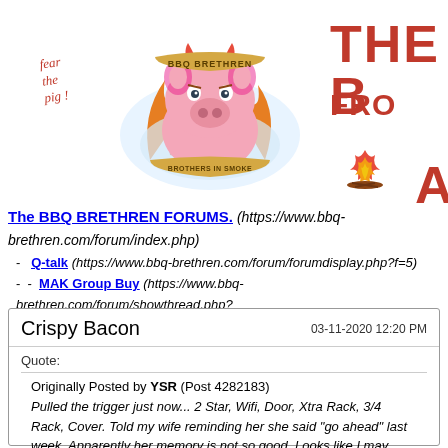[Figure (logo): BBQ Brethren logo with pig mascot surrounded by flames, 'Brothers in Smoke' banner, and 'fear the pig!' text in red italic]
The BBQ BRETHREN FORUMS. (https://www.bbq-brethren.com/forum/index.php)
- Q-talk (https://www.bbq-brethren.com/forum/forumdisplay.php?f=5)
- - MAK Group Buy (https://www.bbq-brethren.com/forum/showthread.php?t=279141)
| Crispy Bacon | 03-11-2020 12:20 PM |
| Quote:
Originally Posted by YSR (Post 4282183)
Pulled the trigger just now... 2 Star, Wifi, Door, Xtra Rack, 3/4 Rack, Cover. Told my wife reminding her she said "go ahead" last week. Apparently her memory is not so good. Looks like I may have "traded" a new MAK for a bathroom |  |